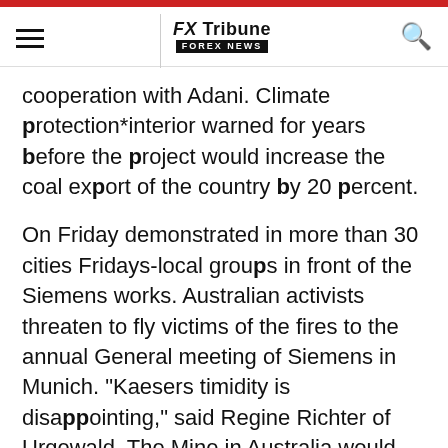FX Tribune FOREX NEWS
cooperation with Adani. Climate protection*interior warned for years before the project would increase the coal export of the country by 20 percent.
On Friday demonstrated in more than 30 cities Fridays-local groups in front of the Siemens works. Australian activists threaten to fly victims of the fires to the annual General meeting of Siemens in Munich. "Kaesers timidity is disappointing," said Regine Richter of Urgewald. The Mine in Australia would create 5 times as much CO2 as Germany. Kaeser could make Siemens "in the end, complicit in a project that threatens the future of humanity".
generic.comment_membership
generic.be_membership_text_1